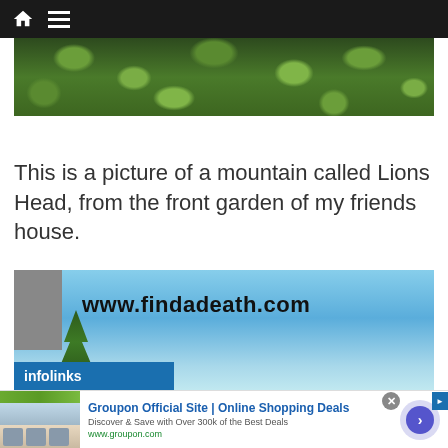Navigation bar with home and menu icons
[Figure (photo): Close-up photo of green leafy plants/garden foliage, serving as hero image]
This is a picture of a mountain called Lions Head, from the front garden of my friends house.
[Figure (screenshot): Website banner showing www.findadeath.com with blue sky background and infolinks bar]
[Figure (screenshot): Advertisement banner: Groupon Official Site | Online Shopping Deals. Discover & Save with Over 300k of the Best Deals. www.groupon.com]